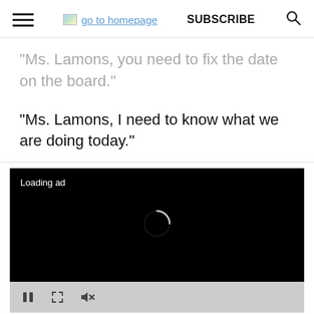go to homepage  SUBSCRIBE
“Ms. Lamons, you need to fix the date on the board.”
“Ms. Lamons, I need to know what we are doing today.”
[Figure (screenshot): Black video player with 'Loading ad' text and a spinner, with playback controls (pause, expand, mute) on a grey bar below.]